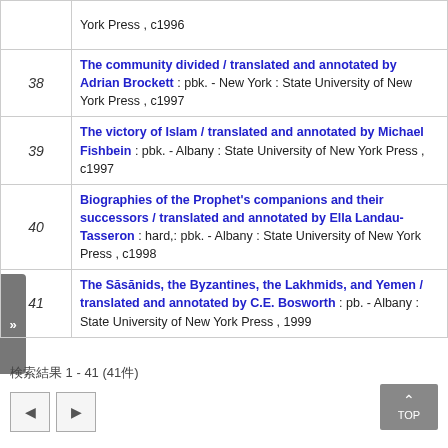| # | Entry |
| --- | --- |
|  | York Press , c1996 |
| 38 | The community divided / translated and annotated by Adrian Brockett : pbk. - New York : State University of New York Press , c1997 |
| 39 | The victory of Islam / translated and annotated by Michael Fishbein : pbk. - Albany : State University of New York Press , c1997 |
| 40 | Biographies of the Prophet's companions and their successors / translated and annotated by Ella Landau-Tasseron : hard,: pbk. - Albany : State University of New York Press , c1998 |
| 41 | The Sāsānids, the Byzantines, the Lakhmids, and Yemen / translated and annotated by C.E. Bosworth : pb. - Albany : State University of New York Press , 1999 |
検索結果 1 - 41 (41件)
[Figure (other): Navigation buttons: previous (left arrow), next (right arrow), and TOP button]